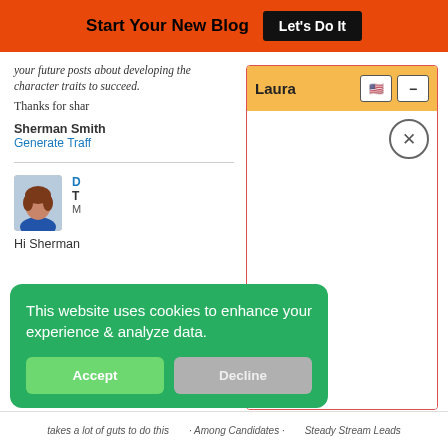Start Your New Blog  Let's Do It
your future posts about developing the character traits to succeed.
Thanks for shar
Sherman Smith
Generate Traff
[Figure (screenshot): Chat popup widget with orange header labeled 'Laura', US flag icon, minus button, close X circle, on white background with red border]
D
T
M
Hi Sherman
[Figure (screenshot): Cookie consent banner in green with text 'This website uses cookies to enhance your experience & analyze data.' and Accept/Decline buttons]
takes a lot of guts to do this    Among Candidates    Steady Stream Leads